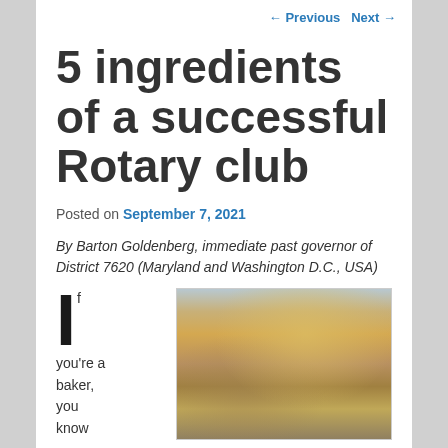← Previous   Next →
5 ingredients of a successful Rotary club
Posted on September 7, 2021
By Barton Goldenberg, immediate past governor of District 7620 (Maryland and Washington D.C., USA)
If you're a baker, you know
[Figure (photo): Photo of baking/cooking ingredients including jars, oils, and kitchen items on a table]